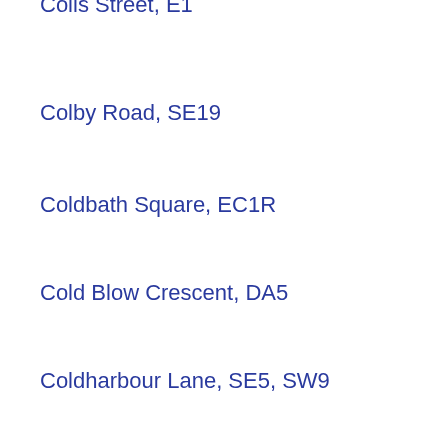Colis Street, E1
Colby Road, SE19
Coldbath Square, EC1R
Cold Blow Crescent, DA5
Coldharbour Lane, SE5, SW9
Coldharbour Place, SE5
Coleman Street, EC2R